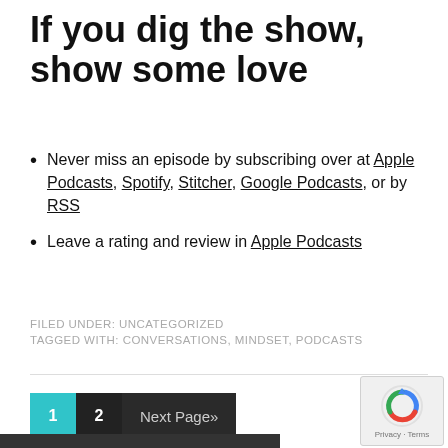If you dig the show, show some love
Never miss an episode by subscribing over at Apple Podcasts, Spotify, Stitcher, Google Podcasts, or by RSS
Leave a rating and review in Apple Podcasts
FILED UNDER: UNCATEGORIZED
TAGGED WITH: CONVERSATIONS, MINDSET, PODCASTS